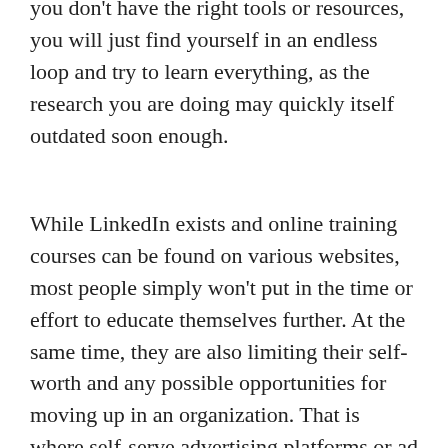you don't have the right tools or resources, you will just find yourself in an endless loop and try to learn everything, as the research you are doing may quickly itself outdated soon enough.
While LinkedIn exists and online training courses can be found on various websites, most people simply won't put in the time or effort to educate themselves further. At the same time, they are also limiting their self-worth and any possible opportunities for moving up in an organization. That is where self-serve advertising platforms or ad agencies can really come into play. Yes, they come at a premium, but work and quality are there for you.